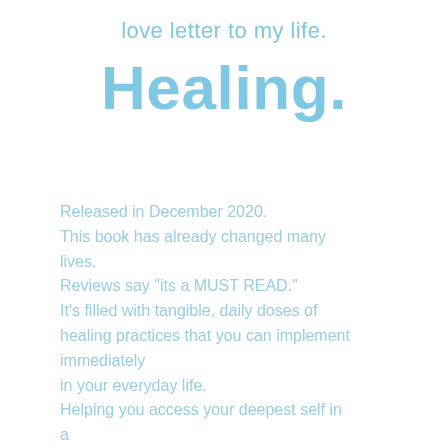love letter to my life.
Healing.
Released in December 2020.
This book has already changed many lives.
Reviews say "its a MUST READ."
It's filled with tangible, daily doses of healing practices that you can implement immediately
in your everyday life.
Helping you access your deepest self in a
very simplistic manner.